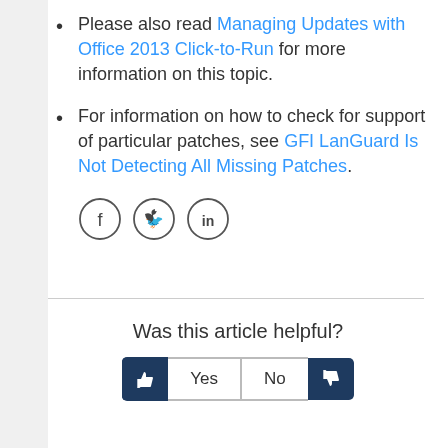Please also read Managing Updates with Office 2013 Click-to-Run for more information on this topic.
For information on how to check for support of particular patches, see GFI LanGuard Is Not Detecting All Missing Patches.
[Figure (other): Social media icons: Facebook, Twitter, LinkedIn (circular outlined icons)]
Was this article helpful?
[Figure (other): Yes/No feedback buttons with thumbs up and thumbs down icons on dark navy background]